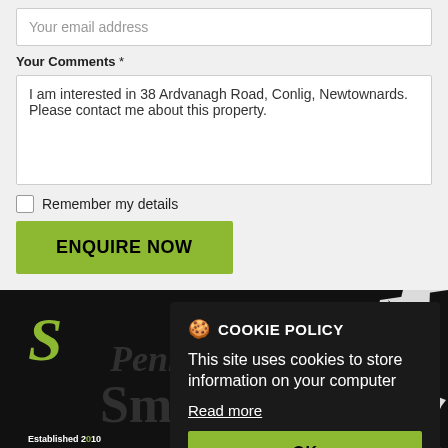Your email address
Your Comments *
I am interested in 38 Ardvanagh Road, Conlig, Newtownards. Please contact me about this property.
Remember my details
ENQUIRE NOW
[Figure (screenshot): Website footer with dark background, green 'S' logo, 'Penny Smyth' watermark text, 'Established 2010' text, and decorative white floral pattern on right side]
COOKIE POLICY
This site uses cookies to store information on your computer
Read more
OK